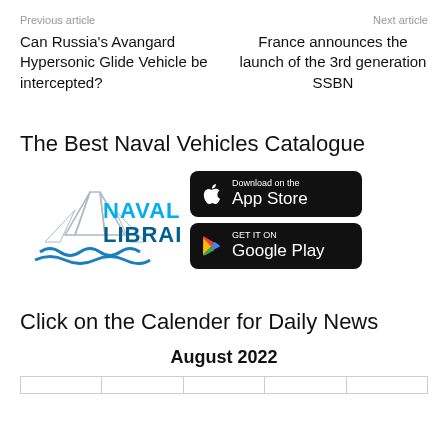Previous article    Next article
Can Russia's Avangard Hypersonic Glide Vehicle be intercepted?
France announces the launch of the 3rd generation SSBN
The Best Naval Naval Vehicles Catalogue
[Figure (logo): Naval Library logo with ship graphic, NAVAL LIBRARY text in blue, App Store button, Google Play button]
Click on the Calender for Daily News
August 2022